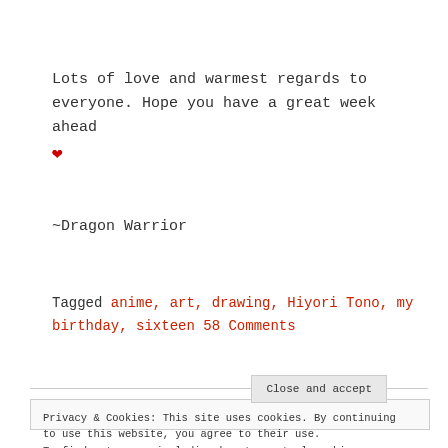Lots of love and warmest regards to everyone. Hope you have a great week ahead ❤
~Dragon Warrior
Tagged anime, art, drawing, Hiyori Tono, my birthday, sixteen 58 Comments
Privacy & Cookies: This site uses cookies. By continuing to use this website, you agree to their use. To find out more, including how to control cookies, see here: Cookie Policy
Close and accept